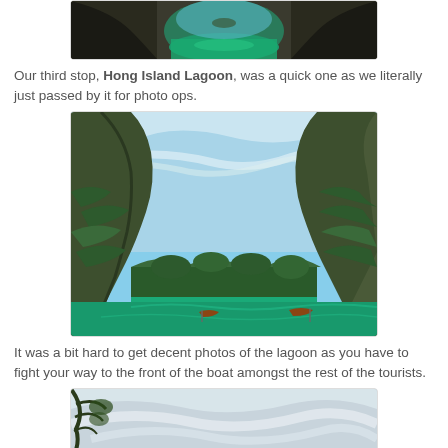[Figure (photo): View through a rocky cave arch opening onto green turquoise water and distant island]
Our third stop, Hong Island Lagoon, was a quick one as we literally just passed by it for photo ops.
[Figure (photo): Hong Island Lagoon with tall limestone cliffs covered in green vegetation on both sides, turquoise green water, blue sky with wispy clouds, and two longtail boats visible]
It was a bit hard to get decent photos of the lagoon as you have to fight your way to the front of the boat amongst the rest of the tourists.
[Figure (photo): Cloudy sky with tree branches visible, taken from boat]